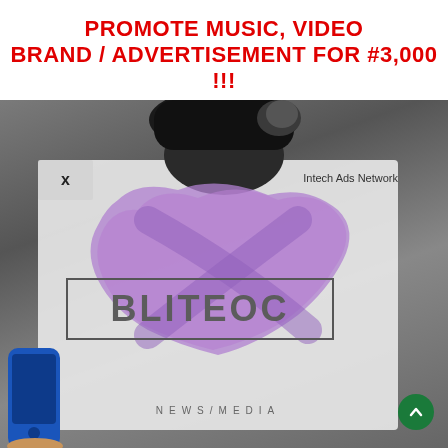PROMOTE MUSIC, VIDEO BRAND / ADVERTISEMENT FOR #3,000 !!!
[Figure (infographic): Promotional image showing a person from behind with a smartphone visible, overlaid with an ad card containing a purple brush-stroke logo for 'BLITEOC NEWS/MEDIA' with 'Intech Ads Network' label, a close (x) button, and a green scroll-up button in the bottom right corner.]